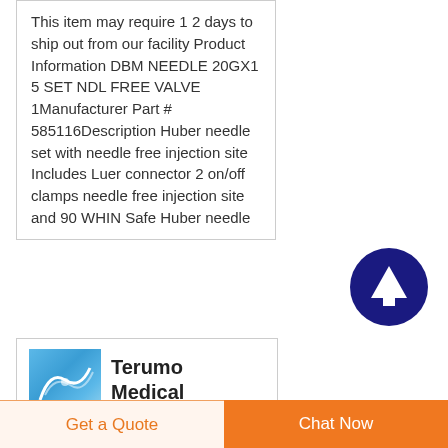This item may require 1 2 days to ship out from our facility Product Information DBM NEEDLE 20GX1 5 SET NDL FREE VALVE 1Manufacturer Part # 585116Description Huber needle set with needle free injection site Includes Luer connector 2 on/off clamps needle free injection site and 90 WHIN Safe Huber needle
[Figure (other): Dark blue circle with white upward arrow button (scroll to top)]
[Figure (logo): Terumo Medical Products logo with blue square image and bold text]
Get a Quote
Chat Now